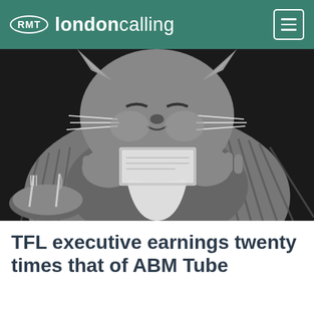RMT londoncalling
[Figure (illustration): Black and white illustration of a fat cat dressed in a suit and bow tie, eating money, depicted in a satirical editorial cartoon style.]
TFL executive earnings twenty times that of ABM Tube